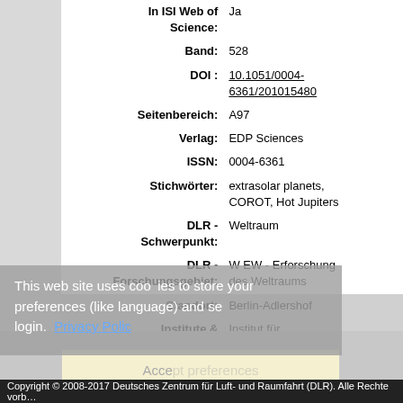| Label | Value |
| --- | --- |
| In ISI Web of Science: | Ja |
| Band: | 528 |
| DOI: | 10.1051/0004-6361/201015480 |
| Seitenbereich: | A97 |
| Verlag: | EDP Sciences |
| ISSN: | 0004-6361 |
| Stichwörter: | extrasolar planets, COROT, Hot Jupiters |
| DLR - Schwerpunkt: | Weltraum |
| DLR - Forschungsgebiet: | W EW - Erforschung des Weltraums |
| Standort: | Berlin-Adlershof |
| Institute & Einrichtungen: | Institut für Planetenforschung > Extrasolare Planeten und Atmosphären |
Nur für Mitarbeiter des Archivs: Kontrollseite des Eintrags
Einige Felder oben sind zurzeit ausgeblendet: Alle Felder anzeigen
This web site uses cookies to store your preferences (like language) and session login.  Privacy Policy
Accept preferences
electronic library verwendet EPrints 3.3.12
Copyright © 2008-2017 Deutsches Zentrum für Luft- und Raumfahrt (DLR). Alle Rechte vorbehalten.